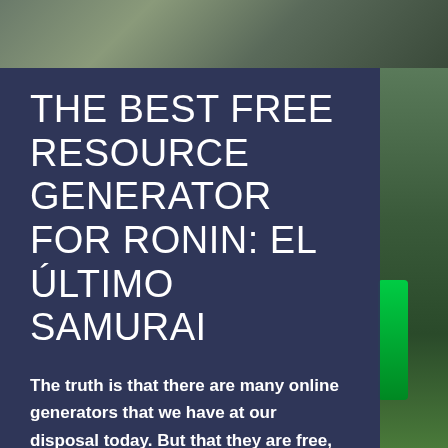[Figure (photo): Background nature/outdoor photo with green foliage visible on the right side and top, with a dark blue-gray overlay panel on the left]
THE BEST FREE RESOURCE GENERATOR FOR RONIN: EL ÚLTIMO SAMURAI
The truth is that there are many online generators that we have at our disposal today. But that they are free, that you do not need registration, or pay anything, there are not so many, so we recommend ours, and not only we do it, but there are